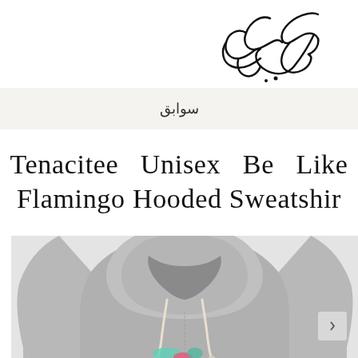[Figure (logo): Arabic calligraphy logo in black ink, top right corner]
سوابق
Tenacitee Unisex Be Like Flamingo Hooded Sweatshirt
[Figure (photo): Grey hooded sweatshirt product photo, cropped showing torso and hood with white drawstrings, flamingo graphic partially visible at bottom]